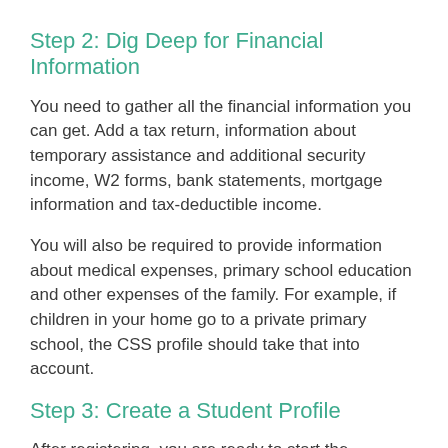Step 2: Dig Deep for Financial Information
You need to gather all the financial information you can get. Add a tax return, information about temporary assistance and additional security income, W2 forms, bank statements, mortgage information and tax-deductible income.
You will also be required to provide information about medical expenses, primary school education and other expenses of the family. For example, if children in your home go to a private primary school, the CSS profile should take that into account.
Step 3: Create a Student Profile
After registering, you are ready to start the application. Applications can vary depending on the situation in your family, but they are all generally the same.